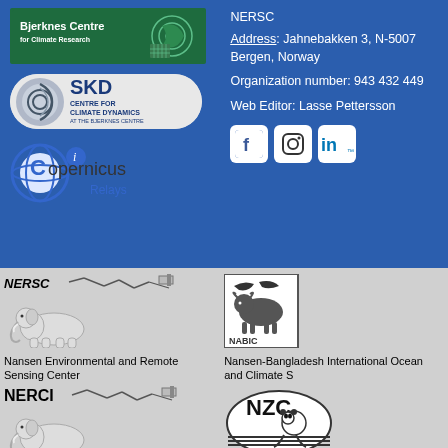[Figure (logo): Bjerknes Centre for Climate Research logo (green background with swirl graphic)]
[Figure (logo): SKD Centre for Climate Dynamics at the Bjerknes Centre logo]
[Figure (logo): Copernicus Relays logo]
NERSC
Address: Jahnebakken 3, N-5007 Bergen, Norway
Organization number: 943 432 449
Web Editor: Lasse Pettersson
[Figure (logo): Facebook, Instagram, LinkedIn social media icons]
[Figure (logo): NERSC logo with elephant and satellite graphic]
Nansen Environmental and Remote Sensing Center
[Figure (logo): NERCI logo with elephant and satellite graphic]
Nansen Environmental Research Center – India
[Figure (logo): NABIC logo with bird and ram graphic]
Nansen-Bangladesh International Ocean and Climate S
[Figure (logo): NZC logo with panda graphic]
Nansen–Zhu Internat